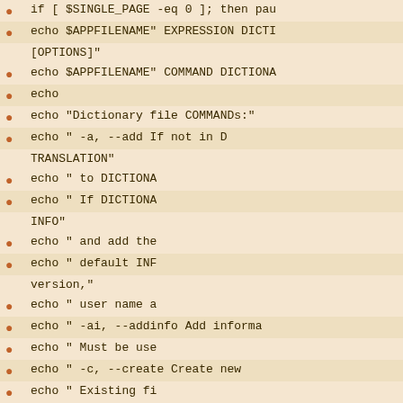if [ $SINGLE_PAGE -eq 0 ]; then pau
echo $APPFILENAME" EXPRESSION DICTI [OPTIONS]"
echo $APPFILENAME" COMMAND DICTIONA
echo
echo "Dictionary file COMMANDs:"
echo "  -a,  --add      If not in D TRANSLATION"
echo "                  to DICTIONA
echo "                  If DICTIONA INFO"
echo "                  and add the
echo "                  default INF version,"
echo "                  user name a
echo "  -ai, --addinfo  Add informa
echo "                  Must be use
echo "  -c,  --create   Create new
echo "                  Existing fi first argument."
echo "  -d,  --delete   If used wit EXPRESSION"
echo "                  from DICTIO
echo "                  If used as
echo "  -i,  --info     Display inf